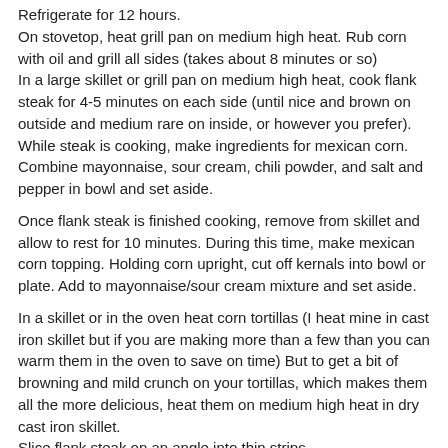Refrigerate for 12 hours.
On stovetop, heat grill pan on medium high heat.  Rub corn with oil and grill all sides (takes about 8 minutes or so)
In a large skillet or grill pan on medium high heat, cook flank steak for 4-5 minutes on each side (until nice and brown on outside and medium rare on inside, or however you prefer).  While steak is cooking, make ingredients for mexican corn.  Combine mayonnaise, sour cream, chili powder, and salt and pepper in bowl and set aside.
Once flank steak is finished cooking, remove from skillet and allow to rest for 10 minutes.  During this time, make mexican corn topping.  Holding corn upright, cut off kernals into bowl or plate.  Add to mayonnaise/sour cream mixture and set aside.
In a skillet or in the oven heat corn tortillas (I heat mine in cast iron skillet but if you are making more than a few than you can warm them in the oven to save on time)  But to get a bit of browning and mild crunch on your tortillas, which makes them all the more delicious, heat them on medium high heat in dry cast iron skillet.
Slice flank steak on an angle into thin strips.
Assemble your fajitas.  Place corn tortillas on plate.  Add beef strips.